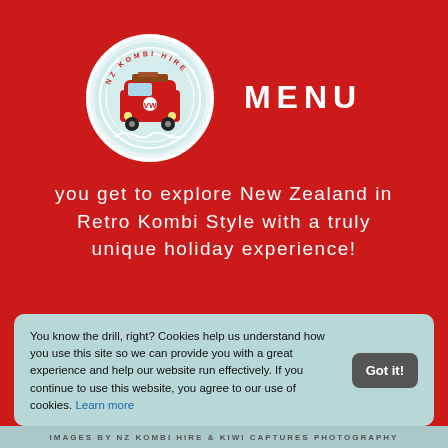[Figure (logo): NZ Kombi Hire circular logo with a red VW kombi van illustration, white border, teal/light blue background]
MENU
you get to explore New Zealand in Retro Kombi Style with a truly unique holiday experience!
Take our KOMBI QUIZ to see which kombi has the vibe for you!
You know the drill, right? Cookies help us understand how you use this site so we can provide you with a great experience and help our website run effectively. If you continue to use this website, you agree to our use of cookies. Learn more
IMAGES BY NZ KOMBI HIRE & KIWI CAPTURES PHOTOGRAPHY